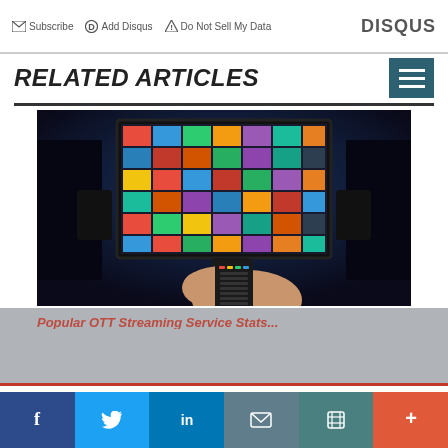Subscribe  Add Disqus  Do Not Sell My Data  DISQUS
RELATED ARTICLES
[Figure (photo): A person holding a TV remote control pointed at a large screen TV displaying a colorful grid of streaming content thumbnails in a dark room.]
f  Twitter  in  Email  Print  +